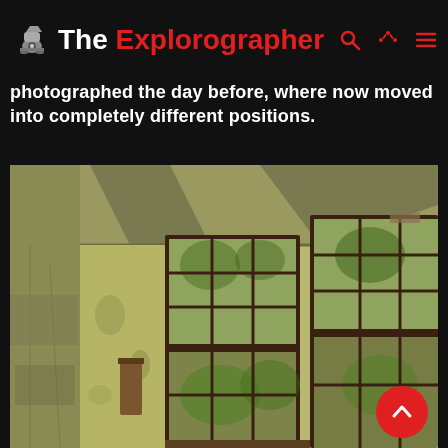The Explorographer
photographed the day before, where now moved into completely different positions.
[Figure (photo): Interior of an abandoned building showing large multi-pane windows with dark wooden frames, deteriorating walls with peeling paint and plaster, concrete ceiling with exposed beams, and green foliage visible through the windows.]